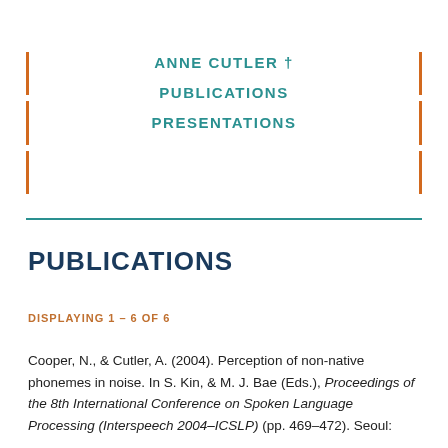ANNE CUTLER †
PUBLICATIONS
PRESENTATIONS
PUBLICATIONS
DISPLAYING 1 – 6 OF 6
Cooper, N., & Cutler, A. (2004). Perception of non-native phonemes in noise. In S. Kin, & M. J. Bae (Eds.), Proceedings of the 8th International Conference on Spoken Language Processing (Interspeech 2004–ICSLP) (pp. 469–472). Seoul: